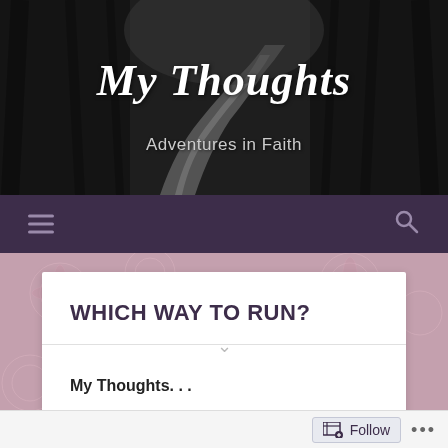[Figure (photo): Black and white photo of a winding road through dark trees, used as blog header background]
My Thoughts
Adventures in Faith
[Figure (other): Navigation bar with hamburger menu icon on left and search icon on right, dark purple background]
WHICH WAY TO RUN?
My Thoughts. . .